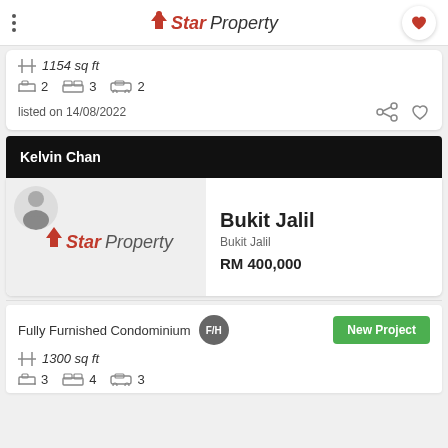StarProperty
1154 sq ft
2  3  2
listed on 14/08/2022
Kelvin Chan
[Figure (logo): StarProperty logo with agent avatar]
Bukit Jalil
Bukit Jalil
RM 400,000
Fully Furnished Condominium  F/H
1300 sq ft
3  4  3